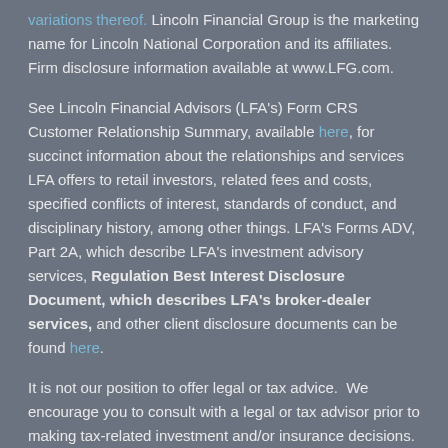variations thereof. Lincoln Financial Group is the marketing name for Lincoln National Corporation and its affiliates. Firm disclosure information available at www.LFG.com.
See Lincoln Financial Advisors (LFA's) Form CRS Customer Relationship Summary, available here, for succinct information about the relationships and services LFA offers to retail investors, related fees and costs, specified conflicts of interest, standards of conduct, and disciplinary history, among other things. LFA's Forms ADV, Part 2A, which describe LFA's investment advisory services, Regulation Best Interest Disclosure Document, which describes LFA's broker-dealer services, and other client disclosure documents can be found here.
It is not our position to offer legal or tax advice. We encourage you to consult with a legal or tax advisor prior to making tax-related investment and/or insurance decisions.
Eastburn and Associates Wealth Management is a marketing name for registered representatives of Lincoln Financial